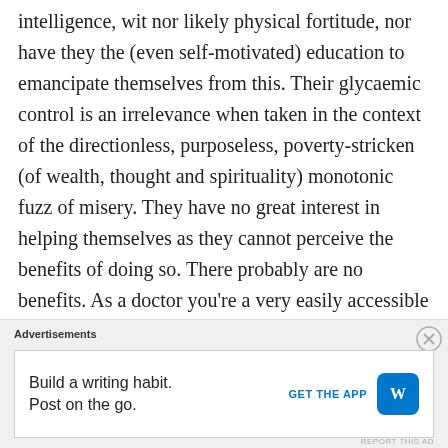intelligence, wit nor likely physical fortitude, nor have they the (even self-motivated) education to emancipate themselves from this. Their glycaemic control is an irrelevance when taken in the context of the directionless, purposeless, poverty-stricken (of wealth, thought and spirituality) monotonic fuzz of misery. They have no great interest in helping themselves as they cannot perceive the benefits of doing so. There probably are no benefits. As a doctor you're a very easily accessible (much more so than e.g. a politician) member of a society that they never really stood a chance in. A consultation with you
Advertisements
Build a writing habit. Post on the go. GET THE APP